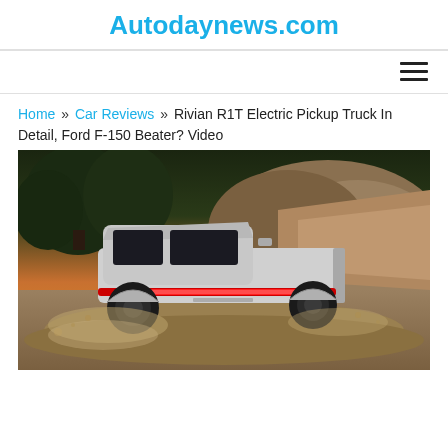Autodaynews.com
Home » Car Reviews » Rivian R1T Electric Pickup Truck In Detail, Ford F-150 Beater? Video
[Figure (photo): Rivian R1T electric pickup truck driving on a rocky dirt trail, rear three-quarter view, silver/white color with red LED taillight bar, dust being kicked up, mountainous off-road terrain with trees in background at dusk.]